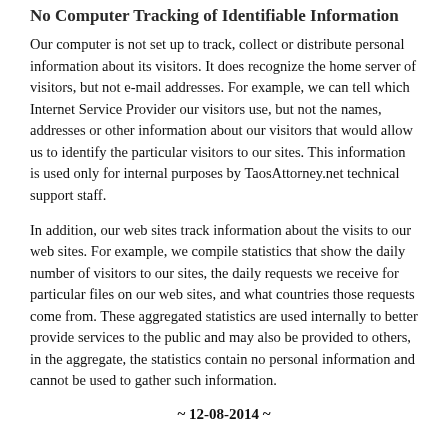No Computer Tracking of Identifiable Information
Our computer is not set up to track, collect or distribute personal information about its visitors. It does recognize the home server of visitors, but not e-mail addresses. For example, we can tell which Internet Service Provider our visitors use, but not the names, addresses or other information about our visitors that would allow us to identify the particular visitors to our sites. This information is used only for internal purposes by TaosAttorney.net technical support staff.
In addition, our web sites track information about the visits to our web sites. For example, we compile statistics that show the daily number of visitors to our sites, the daily requests we receive for particular files on our web sites, and what countries those requests come from. These aggregated statistics are used internally to better provide services to the public and may also be provided to others, in the aggregate, the statistics contain no personal information and cannot be used to gather such information.
~ 12-08-2014 ~